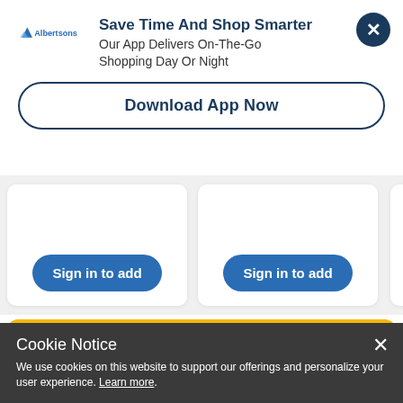Save Time And Shop Smarter
Our App Delivers On-The-Go Shopping Day Or Night
Download App Now
Sign in to add
Sign in to add
Sig
Cholula
Spice up your breakfast with Cholula Hot Sauce
Cookie Notice
We use cookies on this website to support our offerings and personalize your user experience. Learn more.